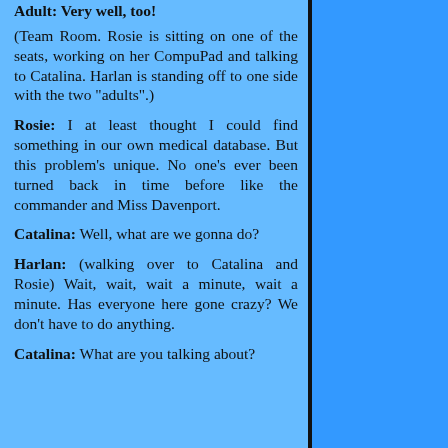Adult: Very well, too!
(Team Room. Rosie is sitting on one of the seats, working on her CompuPad and talking to Catalina. Harlan is standing off to one side with the two "adults".)
Rosie: I at least thought I could find something in our own medical database. But this problem's unique. No one's ever been turned back in time before like the commander and Miss Davenport.
Catalina: Well, what are we gonna do?
Harlan: (walking over to Catalina and Rosie) Wait, wait, wait a minute, wait a minute. Has everyone here gone crazy? We don't have to do anything.
Catalina: What are you talking about?